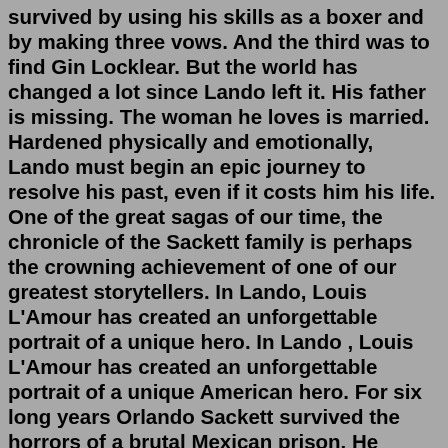survived by using his skills as a boxer and by making three vows. And the third was to find Gin Locklear. But the world has changed a lot since Lando left it. His father is missing. The woman he loves is married. Hardened physically and emotionally, Lando must begin an epic journey to resolve his past, even if it costs him his life. One of the great sagas of our time, the chronicle of the Sackett family is perhaps the crowning achievement of one of our greatest storytellers. In Lando, Louis L'Amour has created an unforgettable portrait of a unique hero. In Lando , Louis L'Amour has created an unforgettable portrait of a unique American hero. For six long years Orlando Sackett survived the horrors of a brutal Mexican prison. He survived by using his skills as a boxer and by making three vows. The first was to exact revenge on the hired killers who framed him. The second was to return to his father. In Lando, Louis L’Amour has created an unforgettable portrait of a unique American hero.For six long years Orlando Sackett survived the horrors of a brutal Mexican